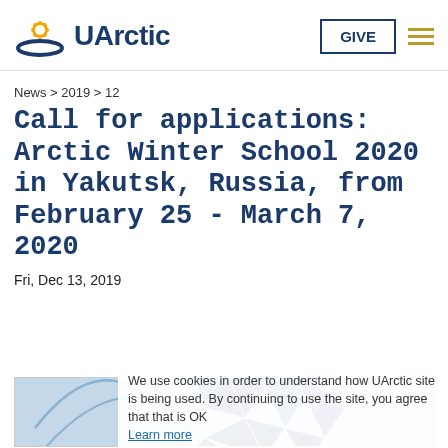UArctic — GIVE
News > 2019 > 12
Call for applications: Arctic Winter School 2020 in Yakutsk, Russia, from February 25 - March 7, 2020
Fri, Dec 13, 2019
We use cookies in order to understand how UArctic site is being used. By continuing to use the site, you agree that that is OK Learn more
[Figure (illustration): Partial view of Arctic Winter School graphic: a geometric globe/sphere in blue tones with triangular facets and a star burst, overlaid with curved white lines suggesting ski tracks or aurora.]